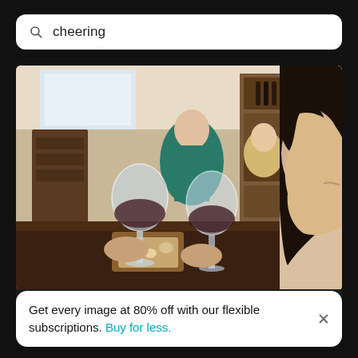cheering
[Figure (photo): Two women clinking wine glasses in a restaurant/wine bar setting, with a woman in teal top and wooden wine crates in the background. The woman on the right is seen in profile with dark hair.]
Clinking wine glasses - women taking photos with mobile phone
Get every image at 80% off with our flexible subscriptions. Buy for less.